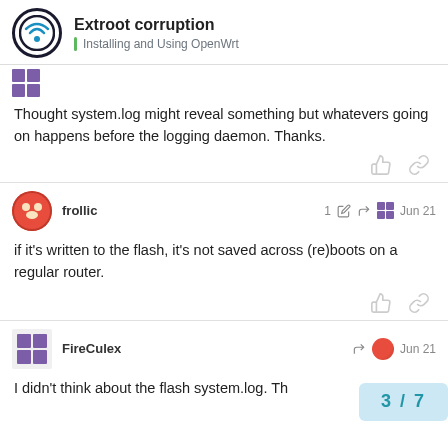Extroot corruption | Installing and Using OpenWrt
Thought system.log might reveal something but whatevers going on happens before the logging daemon. Thanks.
frollic  1  Jun 21
if it's written to the flash, it's not saved across (re)boots on a regular router.
FireCulex  Jun 21
I didn't think about the flash system.log. Th
3 / 7